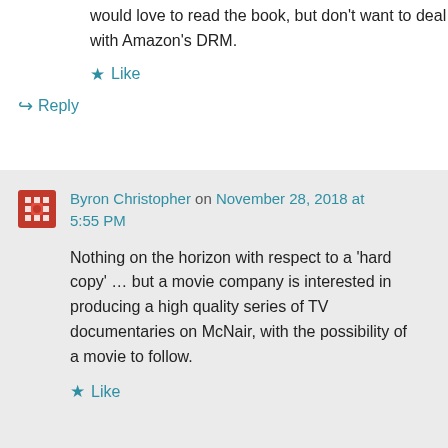would love to read the book, but don’t want to deal with Amazon’s DRM.
★ Like
↵ Reply
Byron Christopher on November 28, 2018 at 5:55 PM
Nothing on the horizon with respect to a ‘hard copy’ … but a movie company is interested in producing a high quality series of TV documentaries on McNair, with the possibility of a movie to follow.
★ Like